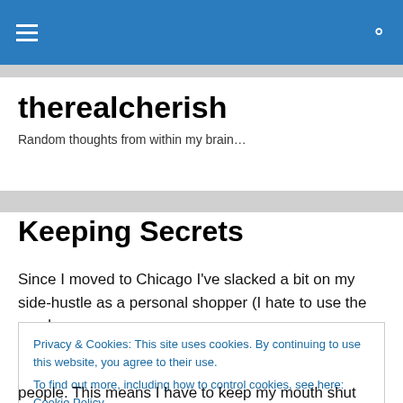therealcherish — site header with hamburger menu and search icon
therealcherish
Random thoughts from within my brain…
Keeping Secrets
Since I moved to Chicago I've slacked a bit on my side-hustle as a personal shopper (I hate to use the word
Privacy & Cookies: This site uses cookies. By continuing to use this website, you agree to their use.
To find out more, including how to control cookies, see here: Cookie Policy
Close and accept
people. This means I have to keep my mouth shut about